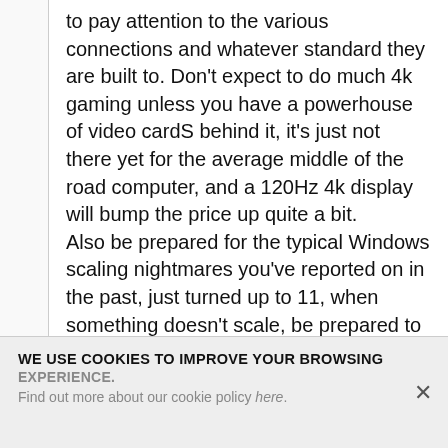to pay attention to the various connections and whatever standard they are built to. Don't expect to do much 4k gaming unless you have a powerhouse of video cardS behind it, it's just not there yet for the average middle of the road computer, and a 120Hz 4k display will bump the price up quite a bit. Also be prepared for the typical Windows scaling nightmares you've reported on in the past, just turned up to 11, when something doesn't scale, be prepared to break out the magnifying glass and be ready to throw stuff and fore-warn the family of the imminent use of bad language
WE USE COOKIES TO IMPROVE YOUR BROWSING EXPERIENCE. Find out more about our cookie policy here.